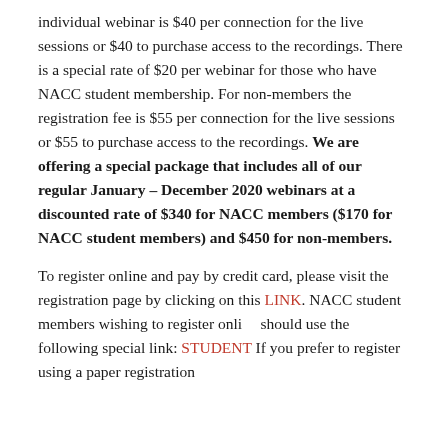individual webinar is $40 per connection for the live sessions or $40 to purchase access to the recordings. There is a special rate of $20 per webinar for those who have NACC student membership. For non-members the registration fee is $55 per connection for the live sessions or $55 to purchase access to the recordings. We are offering a special package that includes all of our regular January – December 2020 webinars at a discounted rate of $340 for NACC members ($170 for NACC student members) and $450 for non-members.
To register online and pay by credit card, please visit the registration page by clicking on this LINK. NACC student members wishing to register online should use the following special link: STUDENT LINK. If you prefer to register using a paper registration